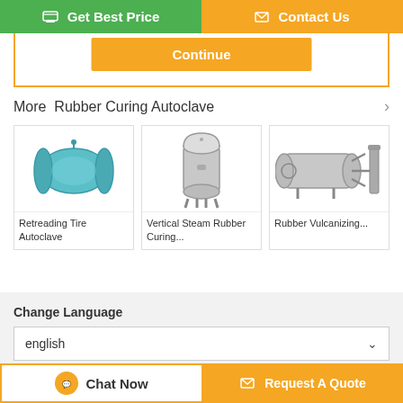[Figure (screenshot): Get Best Price green button and Contact Us orange button at top]
[Figure (screenshot): Continue orange button]
More  Rubber Curing Autoclave
[Figure (photo): Retreading Tire Autoclave product image]
Retreading Tire Autoclave
[Figure (photo): Vertical Steam Rubber Curing... product image]
Vertical Steam Rubber Curing...
[Figure (photo): Rubber Vulcanizing... product image]
Rubber Vulcanizing...
Change Language
english
Home | About Us | Contact Us
[Figure (screenshot): Chat Now button at bottom left]
[Figure (screenshot): Request A Quote button at bottom right]